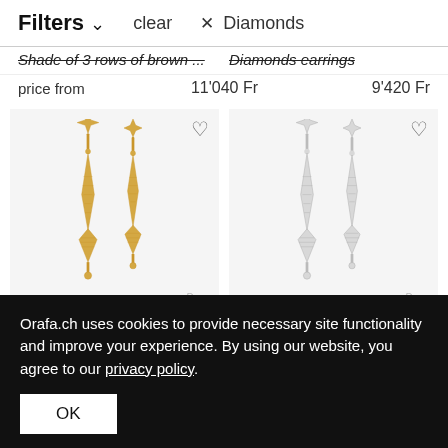Filters ∨   clear   ✕ Diamonds
Shade of 3 rows of brown ...   Diamonds earrings
price from   11'040 Fr   9'420 Fr
[Figure (photo): Two gold diamond-set elongated star/arrow-shaped earrings on light background with brand watermark 'Dom']
[Figure (photo): Two silver/white gold diamond-set elongated star/arrow-shaped earrings on light background with brand watermark 'Dom']
Diamonds earrings
Diamonds earrings
9'420 Fr
9'520 Fr
Orafa.ch uses cookies to provide necessary site functionality and improve your experience. By using our website, you agree to our privacy policy.
OK